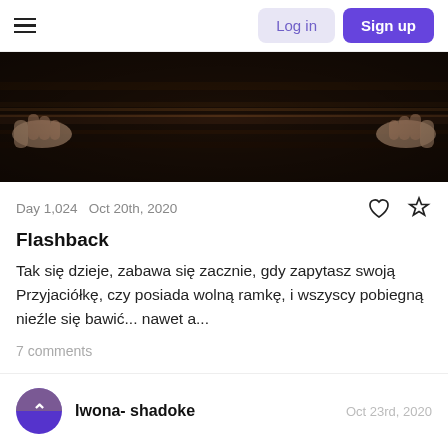Log in  Sign up
[Figure (photo): Dark image of hands gripping a wooden surface, appears to be a door or cabinet]
Day 1,024   Oct 20th, 2020
Flashback
Tak się dzieje, zabawa się zacznie, gdy zapytasz swoją Przyjaciółkę, czy posiada wolną ramkę, i wszyscy pobiegną nieźle się bawić... nawet a...
7 comments
Iwona- shadoke   Oct 23rd, 2020